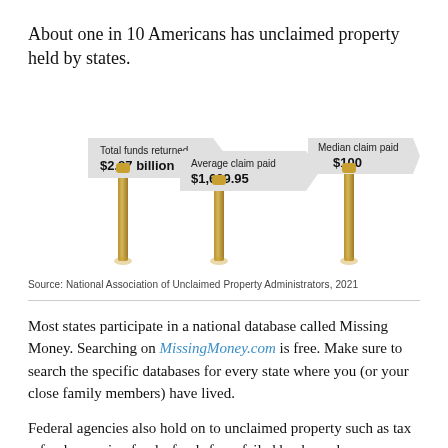About one in 10 Americans has unclaimed property held by states.
[Figure (infographic): Three road-sign style signs on wooden poles displaying statistics: 'Total funds returned $2.87 billion', 'Average claim paid $1,609.95', and 'Median claim paid $100'.]
Source: National Association of Unclaimed Property Administrators, 2021
Most states participate in a national database called Missing Money. Searching on MissingMoney.com is free. Make sure to search the specific databases for every state where you (or your close family members) have lived.
Federal agencies also hold on to unclaimed property such as tax refunds, pension funds, funds from failed banks and